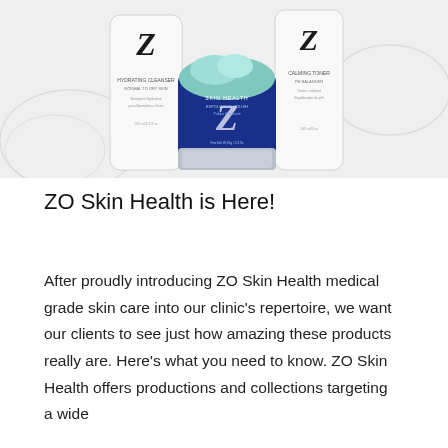[Figure (photo): Product photo showing ZO Skin Health products: two white tubes (Hydrating Cleanser and Calming Toner) flanking a cobalt blue jar of Exfoliating Polish with teal cream on top, on a white background with decorative swirl graphics]
ZO Skin Health is Here!
After proudly introducing ZO Skin Health medical grade skin care into our clinic's repertoire, we want our clients to see just how amazing these products really are. Here's what you need to know. ZO Skin Health offers productions and collections targeting a wide